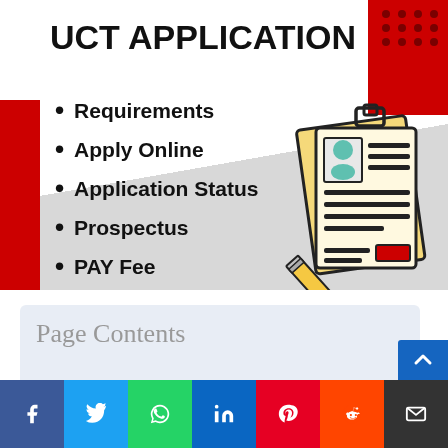UCT APPLICATION
Requirements
Apply Online
Application Status
Prospectus
PAY Fee
Dates
[Figure (illustration): Illustration of application forms/documents with a pencil, showing a form with a person photo ID]
Page Contents